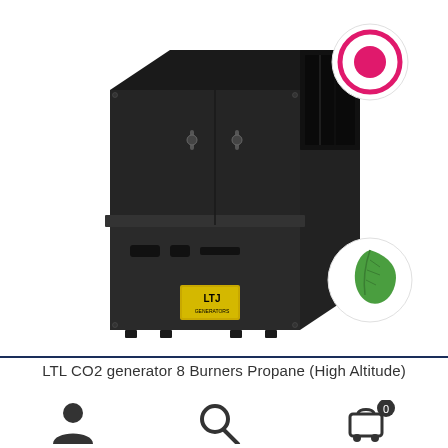[Figure (photo): Product photo of a black LTL CO2 generator with 8 burners for propane high altitude use, shown at an angle. A pink/magenta circular badge icon appears in the top-right corner, and a green leaf/eco badge appears in the bottom-right area of the image.]
LTL CO2 generator 8 Burners Propane (High Altitude)
[Figure (illustration): Footer navigation icons: user/account icon on the left, search magnifier icon in the center, shopping cart icon with a '0' badge on the right.]